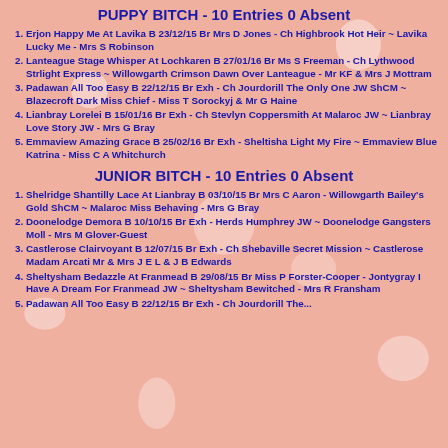PUPPY BITCH - 10 Entries 0 Absent
Erjon Happy Me At Lavika B 23/12/15 Br Mrs D Jones - Ch Highbrook Hot Heir ~ Lavika Lucky Me - Mrs S Robinson
Lanteague Stage Whisper At Lochkaren B 27/01/16 Br Ms S Freeman - Ch Lythwood Strlight Express ~ Willowgarth Crimson Dawn Over Lanteague - Mr KF & Mrs J Mottram
Padawan All Too Easy B 22/12/15 Br Exh - Ch Jourdorill The Only One JW ShCM ~ Blazecroft Dark Miss Chief - Miss T Sorockyj & Mr G Haine
Lianbray Lorelei B 15/01/16 Br Exh - Ch Stevlyn Coppersmith At Malaroc JW ~ Lianbray Love Story JW - Mrs G Bray
Emmaview Amazing Grace B 25/02/16 Br Exh - Sheltisha Light My Fire ~ Emmaview Blue Katrina - Miss C A Whitchurch
JUNIOR BITCH - 10 Entries 0 Absent
Shelridge Shantilly Lace At Lianbray B 03/10/15 Br Mrs C Aaron - Willowgarth Bailey's Gold ShCM ~ Malaroc Miss Behaving - Mrs G Bray
Doonelodge Demora B 10/10/15 Br Exh - Herds Humphrey JW ~ Doonelodge Gangsters Moll - Mrs M Glover-Guest
Castlerose Clairvoyant B 12/07/15 Br Exh - Ch Shebaville Secret Mission ~ Castlerose Madam Arcati Mr & Mrs J E L & J B Edwards
Sheltysham Bedazzle At Franmead B 29/08/15 Br Miss P Forster-Cooper - Jontygray I Have A Dream For Franmead JW ~ Sheltysham Bewitched - Mrs R Fransham
Padawan All Too Easy B 22/12/15 Br Exh - Ch Jourdorill The...